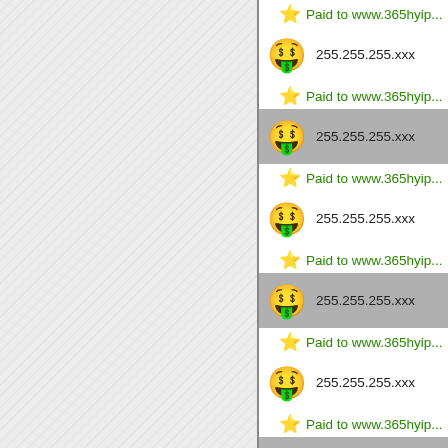[Figure (screenshot): Left panel with diagonal hatched grey background pattern, occupying roughly the left 57% of the page. A vertical grey divider separates left from right panel.]
Paid to www.365hyip...
255.255.255.xxx
Paid to www.365hyip...
255.255.255.xxx
Paid to www.365hyip...
255.255.255.xxx
Paid to www.365hyip...
255.255.255.xxx
Paid to www.365hyip...
255.255.255.xxx
Paid to www.365hyip...
255.255.255.xxx
Paid to www.365hyip...
255.255.255.xxx